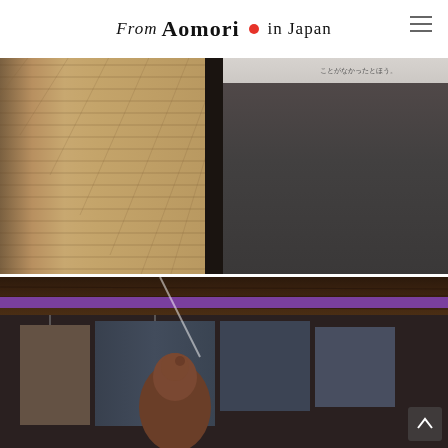From Aomori ● in Japan
[Figure (photo): Close-up photo of a woven textile/curtain fabric on the left side (beige/tan colored with grid-like texture), beside a dark board/panel and a light-colored wall with Japanese text in the upper right corner.]
[Figure (photo): Museum or gallery exhibition photo showing a person (seen from behind with reddish-brown hair in a bun) viewing a displayed textile/fabric artwork. The display area has a purple horizontal bar at the top and dark wooden paneling. The textile pieces are dark indigo/blue tones.]